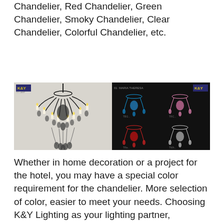Chandelier, Red Chandelier, Green Chandelier, Smoky Chandelier, Clear Chandelier, Colorful Chandelier, etc.
[Figure (photo): Left half: a large smoky/black crystal chandelier with multiple arms and candle lights against a light background, with K&Y logo. Right half: catalog page on black background showing four colorful chandeliers in blue, pink, red, and white/clear colors, with K&Y logo and product number 01 MARIA THERESA.]
Whether in home decoration or a project for the hotel, you may have a special color requirement for the chandelier. More selection of color, easier to meet your needs. Choosing K&Y Lighting as your lighting partner, choosing more chandelier...